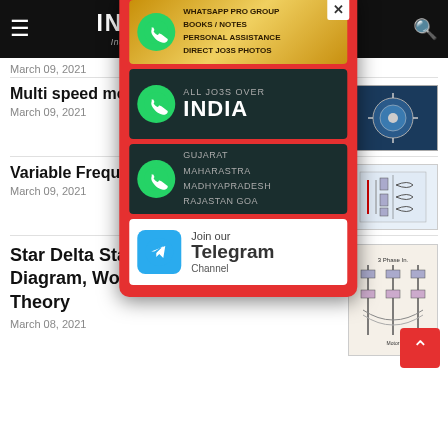INDUSTRIAL GUIDE — Industries related blogs question answers videos
March 09, 2021
Multi speed moto...
March 09, 2021
[Figure (screenshot): Popup with WhatsApp Pro Group promo, All Jobs Over India WhatsApp group, Gujarat Maharashtra Madhyapradesh Rajastan Goa WhatsApp group, and Join our Telegram Channel banners on red background]
Variable Frequenc...
March 09, 2021
Star Delta Starter: Circuit Diagram, Working Principle & Theory
March 08, 2021